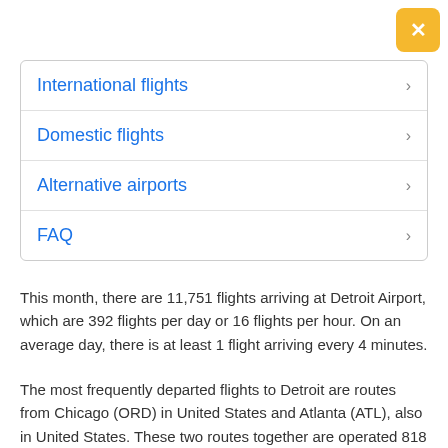International flights
Domestic flights
Alternative airports
FAQ
This month, there are 11,751 flights arriving at Detroit Airport, which are 392 flights per day or 16 flights per hour. On an average day, there is at least 1 flight arriving every 4 minutes.
The most frequently departed flights to Detroit are routes from Chicago (ORD) in United States and Atlanta (ATL), also in United States. These two routes together are operated 818 times this month, and make up for 7% of all monthly arrivals at Detroit Metropolitan Wayne County Airport.
The longest flight to Detroit DTW is departing from Shanghai (PVG). This non-stop flight takes around 14 hours and 35 minutes and is operated by Air China (CA).